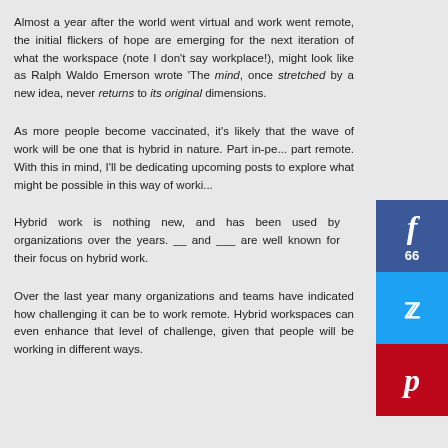Almost a year after the world went virtual and work went remote, the initial flickers of hope are emerging for the next iteration of what the workspace (note I don't say workplace!), might look like as Ralph Waldo Emerson wrote 'The mind, once stretched by a new idea, never returns to its original dimensions.
As more people become vaccinated, it's likely that the wave of work will be one that is hybrid in nature. Part in-pe... part remote. With this in mind, I'll be dedicating upcoming posts to explore what might be possible in this way of worki...
Hybrid work is nothing new, and has been used by organizations over the years. __ and ___ are well known for their focus on hybrid work.
Over the last year many organizations and teams have indicated how challenging it can be to work remote. Hybrid workspaces can even enhance that level of challenge, given that people will be working in different ways.